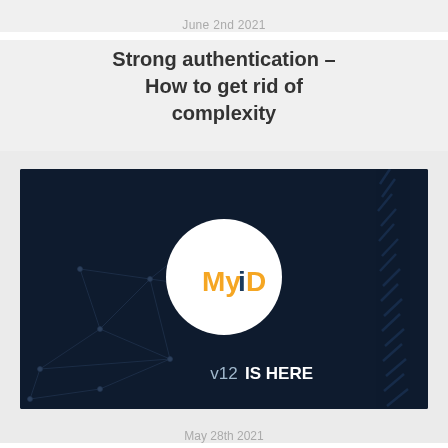June 2nd 2021
Strong authentication – How to get rid of complexity
[Figure (illustration): MyiD logo centered in a white circle on a dark navy background with geometric network lines pattern and v12 IS HERE text at the bottom]
May 28th 2021